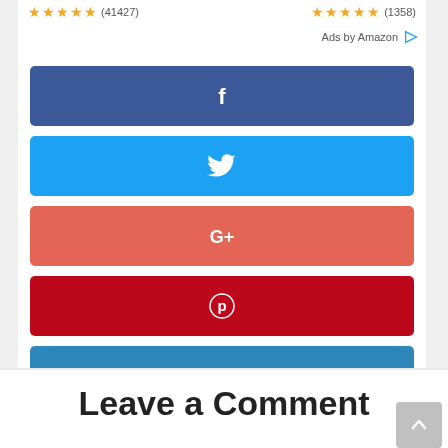★★★★★ (41427)   ★★★★★ (1358)
Ads by Amazon ▷
[Figure (infographic): Five social share buttons stacked vertically: Facebook (dark blue), Twitter (light blue), Google+ (red-orange), Pinterest (dark red), LinkedIn (medium blue), each with white icon centered]
Leave a Comment